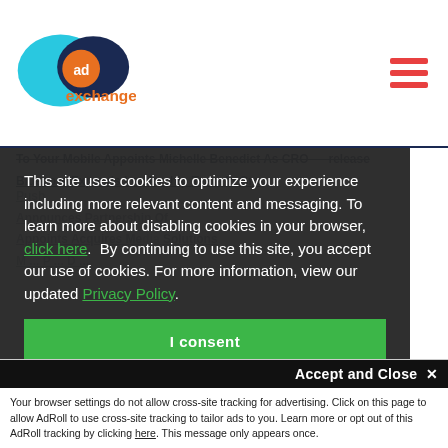AdExchanger logo and hamburger menu
To Your Mobile Appoints Michelle Benedict As CRO... release
Bluecore Expands Leadership Team In Growth Push...
...Announces Partnership Of...
...Appoints...Acquires Media Solutions...
M...P...D...
This site uses cookies to optimize your experience including more relevant content and messaging. To learn more about disabling cookies in your browser, click here. By continuing to use this site, you accept our use of cookies. For more information, view our updated Privacy Policy.
I consent
Accept and Close ✕
Your browser settings do not allow cross-site tracking for advertising. Click on this page to allow AdRoll to use cross-site tracking to tailor ads to you. Learn more or opt out of this AdRoll tracking by clicking here. This message only appears once.